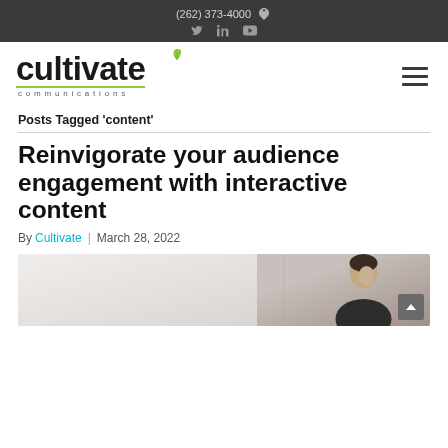(262) 373-4000
[Figure (logo): Cultivate Communications logo with green leaf accent and green underline, with 'communications' in spaced letters below]
Posts Tagged ‘content’
Reinvigorate your audience engagement with interactive content
By Cultivate | March 28, 2022
[Figure (photo): Photo of a man looking down and smiling, seated in a light office environment]